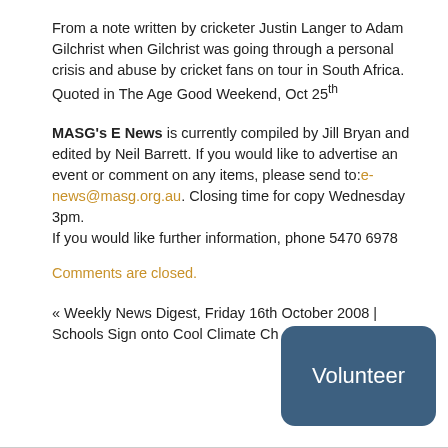From a note written by cricketer Justin Langer to Adam Gilchrist when Gilchrist was going through a personal crisis and abuse by cricket fans on tour in South Africa. Quoted in The Age Good Weekend, Oct 25th
MASG's E News is currently compiled by Jill Bryan and edited by Neil Barrett. If you would like to advertise an event or comment on any items, please send to: e-news@masg.org.au. Closing time for copy Wednesday 3pm.
If you would like further information, phone 5470 6978
Comments are closed.
« Weekly News Digest, Friday 16th October 2008 | Schools Sign onto Cool Climate Ch…
[Figure (other): A dark blue/steel rounded rectangle button with the text 'Volunteer' in white]